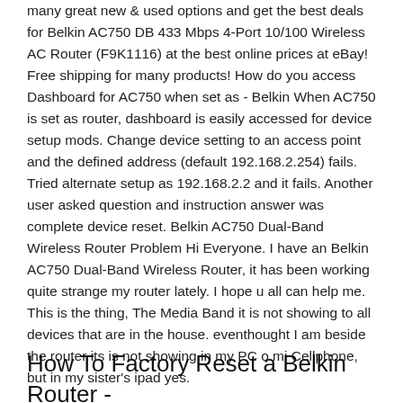many great new & used options and get the best deals for Belkin AC750 DB 433 Mbps 4-Port 10/100 Wireless AC Router (F9K1116) at the best online prices at eBay! Free shipping for many products! How do you access Dashboard for AC750 when set as - Belkin When AC750 is set as router, dashboard is easily accessed for device setup mods. Change device setting to an access point and the defined address (default 192.168.2.254) fails. Tried alternate setup as 192.168.2.2 and it fails. Another user asked question and instruction answer was complete device reset. Belkin AC750 Dual-Band Wireless Router Problem Hi Everyone. I have an Belkin AC750 Dual-Band Wireless Router, it has been working quite strange my router lately. I hope u all can help me. This is the thing, The Media Band it is not showing to all devices that are in the house. eventhought I am beside the router its is not showing in my PC o mi Cellphone, but in my sister's ipad yes.
How To Factory Reset a Belkin Router -